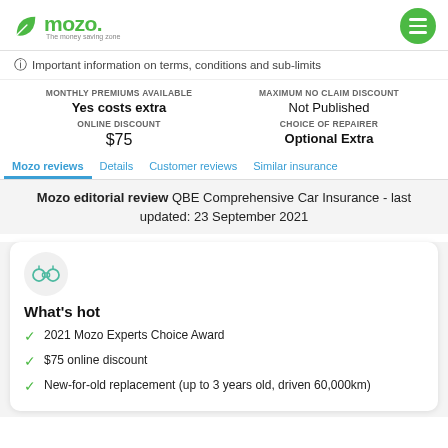mozo - The money saving zone
Important information on terms, conditions and sub-limits
MONTHLY PREMIUMS AVAILABLE
Yes costs extra
ONLINE DISCOUNT
$75
MAXIMUM NO CLAIM DISCOUNT
Not Published
CHOICE OF REPAIRER
Optional Extra
Mozo reviews  Details  Customer reviews  Similar insurance
Mozo editorial review QBE Comprehensive Car Insurance - last updated: 23 September 2021
What's hot
2021 Mozo Experts Choice Award
$75 online discount
New-for-old replacement (up to 3 years old, driven 60,000km)